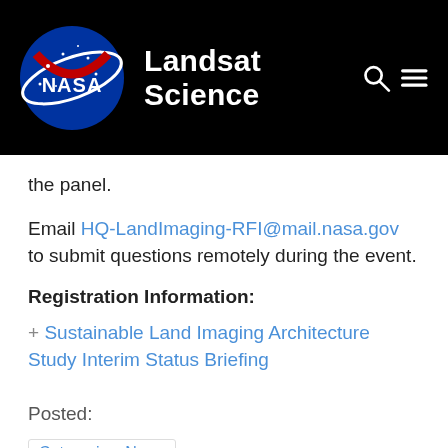NASA Landsat Science
the panel.
Email HQ-LandImaging-RFI@mail.nasa.gov to submit questions remotely during the event.
Registration Information:
+ Sustainable Land Imaging Architecture Study Interim Status Briefing
Posted:
Categories: News